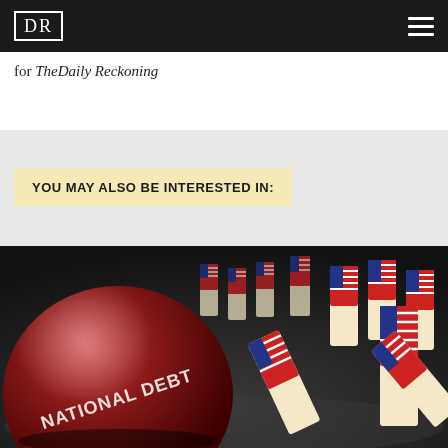DR
for TheDaily Reckoning
YOU MAY ALSO BE INTERESTED IN:
[Figure (photo): A large red bowling-ball-like sphere labeled 'NATIONAL DEBT' knocking over domino pieces decorated with the American flag pattern, on a dark reflective surface.]